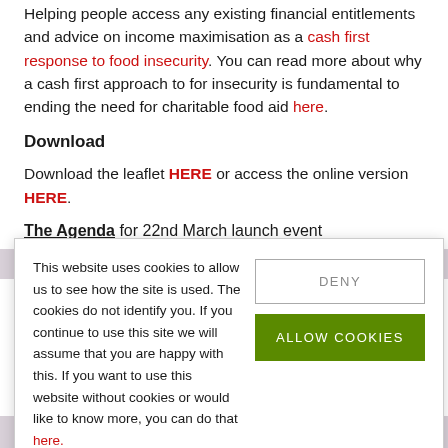Helping people access any existing financial entitlements and advice on income maximisation as a cash first response to food insecurity. You can read more about why a cash first approach to for insecurity is fundamental to ending the need for charitable food aid here.
Download
Download the leaflet HERE or access the online version HERE.
The Agenda for 22nd March launch event
11.00 Aaron Barbour, Katherine Low Settlement
[Figure (screenshot): Cookie consent banner overlay with text about website cookies, a DENY button, and an ALLOW COOKIES button in green.]
Why a cash first/advice first approach matters to address